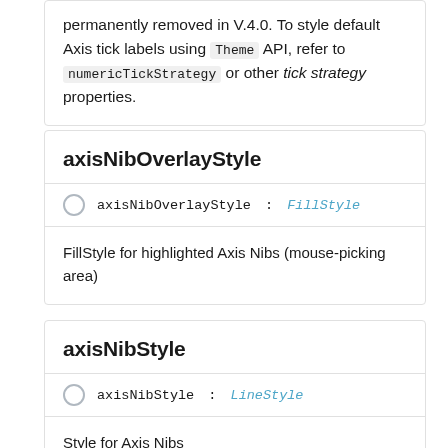permanently removed in V.4.0. To style default Axis tick labels using Theme API, refer to numericTickStrategy or other tick strategy properties.
axisNibOverlayStyle
axisNibOverlayStyle : FillStyle
FillStyle for highlighted Axis Nibs (mouse-picking area)
axisNibStyle
axisNibStyle : LineStyle
Style for Axis Nibs